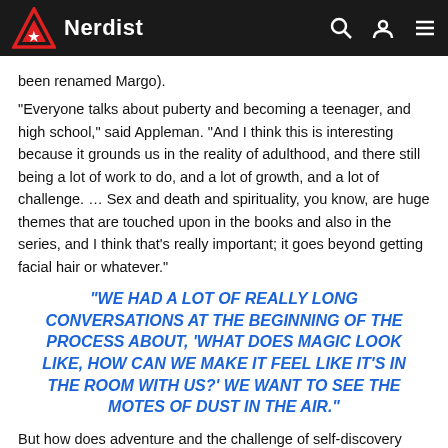Nerdist
been renamed Margo).
“Everyone talks about puberty and becoming a teenager, and high school,” said Appleman. “And I think this is interesting because it grounds us in the reality of adulthood, and there still being a lot of work to do, and a lot of growth, and a lot of challenge. … Sex and death and spirituality, you know, are huge themes that are touched upon in the books and also in the series, and I think that’s really important; it goes beyond getting facial hair or whatever.”
“WE HAD A LOT OF REALLY LONG CONVERSATIONS AT THE BEGINNING OF THE PROCESS ABOUT, ‘WHAT DOES MAGIC LOOK LIKE, HOW CAN WE MAKE IT FEEL LIKE IT’S IN THE ROOM WITH US?’ WE WANT TO SEE THE MOTES OF DUST IN THE AIR.”
But how does adventure and the challenge of self-discovery fare when your main characters are, as Gamble put it, “a